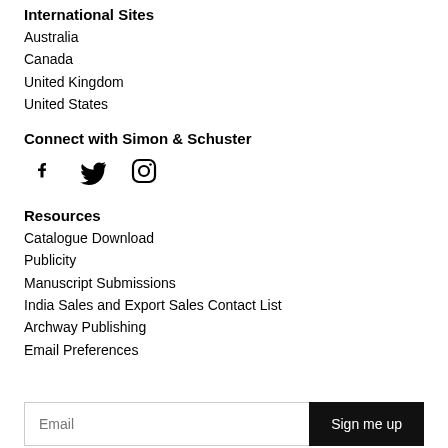International Sites
Australia
Canada
United Kingdom
United States
Connect with Simon & Schuster
[Figure (illustration): Social media icons: Facebook, Twitter, Instagram]
Resources
Catalogue Download
Publicity
Manuscript Submissions
India Sales and Export Sales Contact List
Archway Publishing
Email Preferences
Email [input field] Sign me up [button]